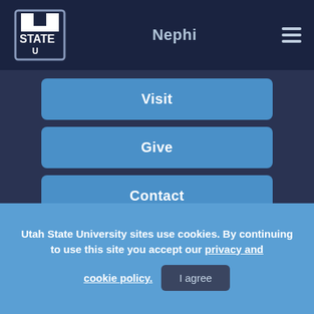Nephi
Visit
Give
Contact
Utah State University sites use cookies. By continuing to use this site you accept our privacy and cookie policy. I agree